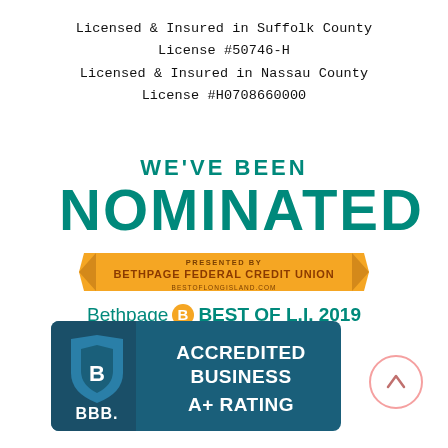Licensed & Insured in Suffolk County
License #50746-H
Licensed & Insured in Nassau County
License #H0708660000
[Figure (logo): We've Been Nominated badge — Bethpage Federal Credit Union Best of Long Island 2019, with teal text and orange ribbon banner]
[Figure (logo): BBB Accredited Business A+ Rating badge with dark teal/blue background]
[Figure (other): Circular scroll-up button with upward chevron, pink/salmon outline]